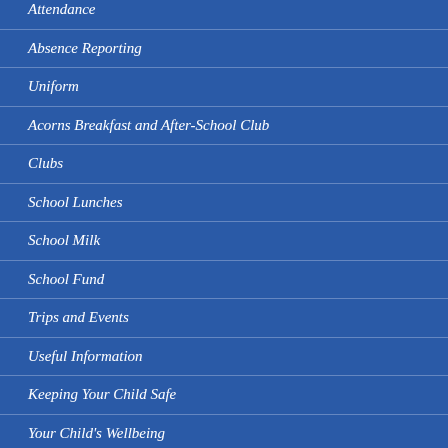Attendance
Absence Reporting
Uniform
Acorns Breakfast and After-School Club
Clubs
School Lunches
School Milk
School Fund
Trips and Events
Useful Information
Keeping Your Child Safe
Your Child's Wellbeing